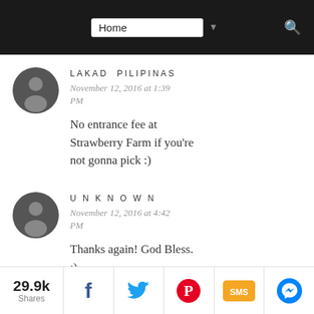Home (navigation dropdown)
LAKAD PILIPINAS
November 12, 2016 at 1:39 PM

No entrance fee at Strawberry Farm if you're not gonna pick :)
UNKNOWN
November 12, 2016 at 4:42 PM

Thanks again! God Bless. :)
29.9k Shares